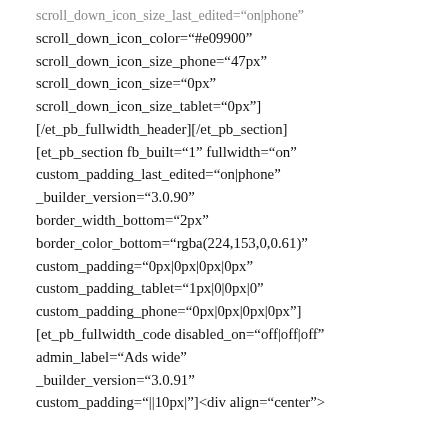scroll_down_icon_size_last_edited="on|phone"
scroll_down_icon_color="#e09900"
scroll_down_icon_size_phone="47px"
scroll_down_icon_size="0px"
scroll_down_icon_size_tablet="0px"]
[/et_pb_fullwidth_header][/et_pb_section]
[et_pb_section fb_built="1" fullwidth="on"
custom_padding_last_edited="on|phone"
_builder_version="3.0.90"
border_width_bottom="2px"
border_color_bottom="rgba(224,153,0,0.61)"
custom_padding="0px|0px|0px|0px"
custom_padding_tablet="1px|0|0px|0"
custom_padding_phone="0px|0px|0px|0px"]
[et_pb_fullwidth_code disabled_on="off|off|off"
admin_label="Ads wide"
_builder_version="3.0.91"
custom_padding="||10px|"<div align="center">